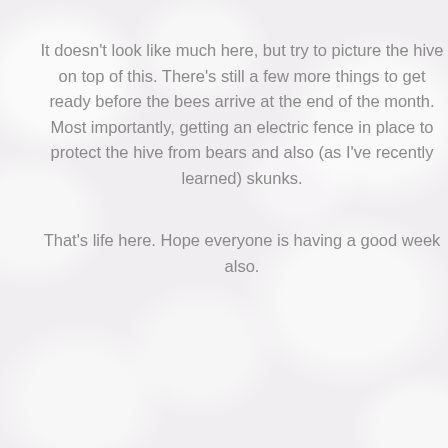It doesn't look like much here, but try to picture the hive on top of this. There's still a few more things to get ready before the bees arrive at the end of the month. Most importantly, getting an electric fence in place to protect the hive from bears and also (as I've recently learned) skunks.
That's life here. Hope everyone is having a good week also.